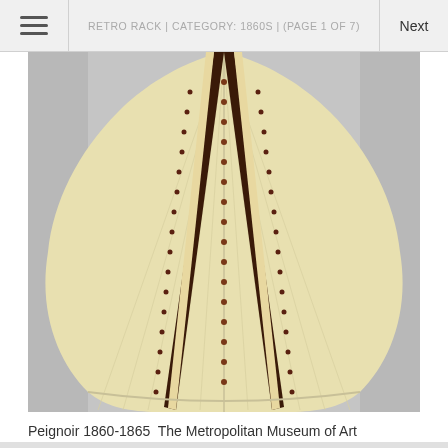RETRO RACK | CATEGORY: 1860S | (PAGE 1 OF 7)
[Figure (photo): Close-up photograph of a cream/ivory pleated peignoir from 1860-1865, showing decorative dark brown velvet trim strips with embroidered floral/paisley patterns and small dot embellishments running vertically down the skirt, displayed on a gray background.]
Peignoir 1860-1865  The Metropolitan Museum of Art